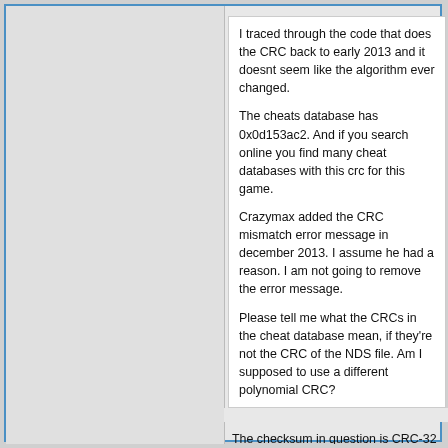I traced through the code that does the CRC back to early 2013 and it doesnt seem like the algorithm ever changed.
The cheats database has 0x0d153ac2. And if you search online you find many cheat databases with this crc for this game.
Crazymax added the CRC mismatch error message in december 2013. I assume he had a reason. I am not going to remove the error message.
Please tell me what the CRCs in the cheat database mean, if they're not the CRC of the NDS file. Am I supposed to use a different polynomial CRC?
The checksum in question is CRC-32 of the first 512 bytes in a decrypted ROM, but with NOT operation applied to the calculated value.
Taking USA Portrait of Ruin for example, CRC-32 of the first 512 bytes of the decrypted .nds is 0xF2EAC53D. Doing NOT with F2EAC53D in Windows Calculator yields D153AC2